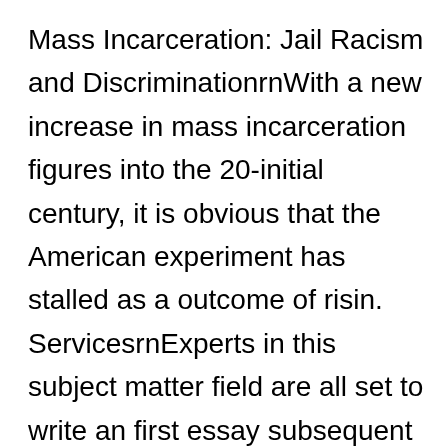Mass Incarceration: Jail Racism and DiscriminationrnWith a new increase in mass incarceration figures into the 20-initial century, it is obvious that the American experiment has stalled as a outcome of risin. ServicesrnExperts in this subject matter field are all set to write an first essay subsequent your guidance to the dot! how do i find a good custom essay writing service Employ a WriterrnBrent Staples discusses in his write-up, Black Adult males and Community Space, how people's perceptions of a individual based on their race or history can be destructive to each the citizen and the society as a total